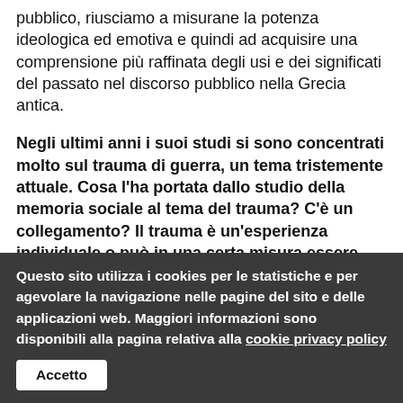pubblico, riusciamo a misurane la potenza ideologica ed emotiva e quindi ad acquisire una comprensione più raffinata degli usi e dei significati del passato nel discorso pubblico nella Grecia antica.
Negli ultimi anni i suoi studi si sono concentrati molto sul trauma di guerra, un tema tristemente attuale. Cosa l'ha portata dallo studio della memoria sociale al tema del trauma? C'è un collegamento? Il trauma è un'esperienza individuale o può in una certa misura essere collettivo?
Questo sito utilizza i cookies per le statistiche e per agevolare la navigazione nelle pagine del sito e delle applicazioni web. Maggiori informazioni sono disponibili alla pagina relativa alla cookie privacy policy